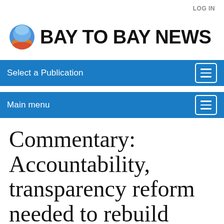LOG IN
[Figure (logo): Bay To Bay News logo with circular gradient icon (blue/orange/red) and bold black text]
Select a Publication
Main menu
Commentary: Accountability, transparency reform needed to rebuild public